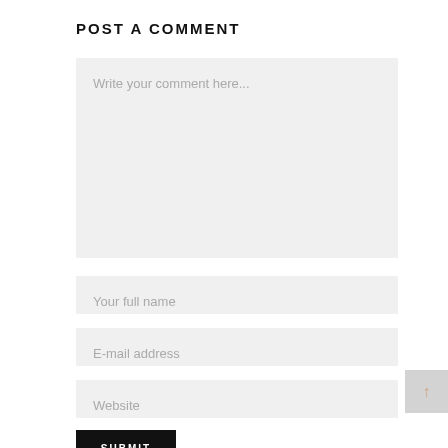POST A COMMENT
Write your comment here...
Your full name
E-mail address
Website
SUBMIT